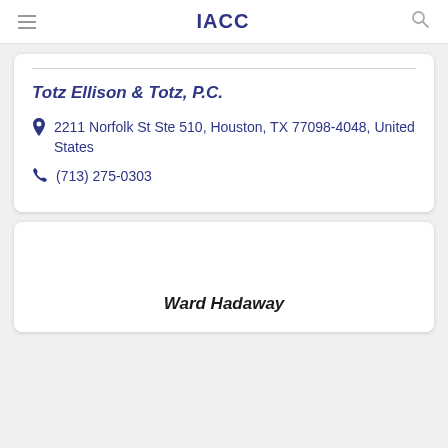IACC
Totz Ellison & Totz, P.C.
2211 Norfolk St Ste 510, Houston, TX 77098-4048, United States
(713) 275-0303
Ward Hadaway